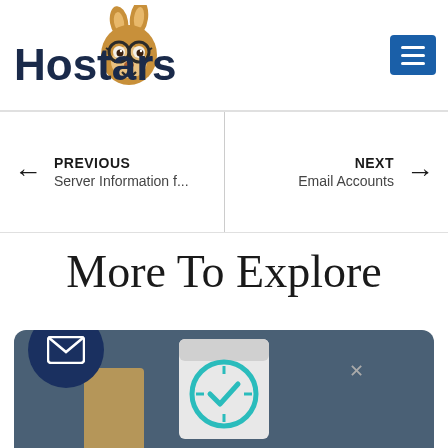Hostaroos
PREVIOUS
Server Information f...
NEXT
Email Accounts
More To Explore
[Figure (illustration): Bottom card section with a dark navy circle containing a white mail envelope icon, a gold/brown card icon, and a teal clock/calendar icon on a dark slate-blue rounded card background]